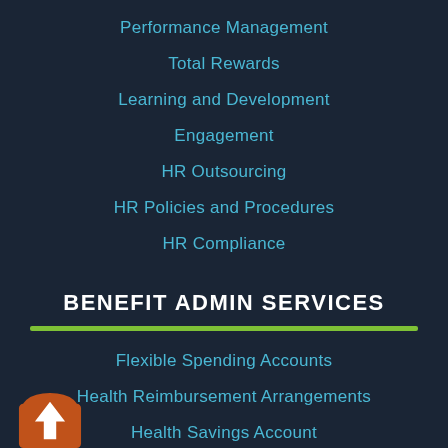Performance Management
Total Rewards
Learning and Development
Engagement
HR Outsourcing
HR Policies and Procedures
HR Compliance
BENEFIT ADMIN SERVICES
Flexible Spending Accounts
Health Reimbursement Arrangements
Health Savings Account
Qualified Small Employer HRA
[Figure (illustration): Orange upward arrow navigation icon with rounded top, white arrow pointing up]